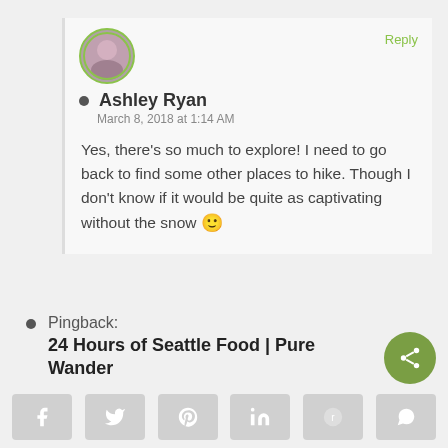[Figure (photo): Circular avatar photo of Ashley Ryan with green border]
Reply
Ashley Ryan
March 8, 2018 at 1:14 AM

Yes, there's so much to explore! I need to go back to find some other places to hike. Though I don't know if it would be quite as captivating without the snow 🙂
Pingback:
24 Hours of Seattle Food | Pure Wander
[Figure (infographic): Green circular share/social button]
[Figure (infographic): Social sharing bar with Facebook, Twitter, Pinterest, LinkedIn, Reddit, WhatsApp buttons]